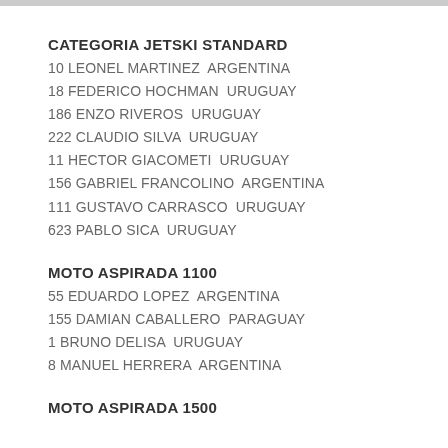CATEGORIA JETSKI STANDARD
10 LEONEL MARTINEZ  ARGENTINA
18 FEDERICO HOCHMAN  URUGUAY
186 ENZO RIVEROS  URUGUAY
222 CLAUDIO SILVA  URUGUAY
11 HECTOR GIACOMETI  URUGUAY
156 GABRIEL FRANCOLINO  ARGENTINA
111 GUSTAVO CARRASCO  URUGUAY
623 PABLO SICA  URUGUAY
MOTO ASPIRADA 1100
55 EDUARDO LOPEZ  ARGENTINA
155 DAMIAN CABALLERO  PARAGUAY
1 BRUNO DELISA  URUGUAY
8 MANUEL HERRERA  ARGENTINA
MOTO ASPIRADA 1500